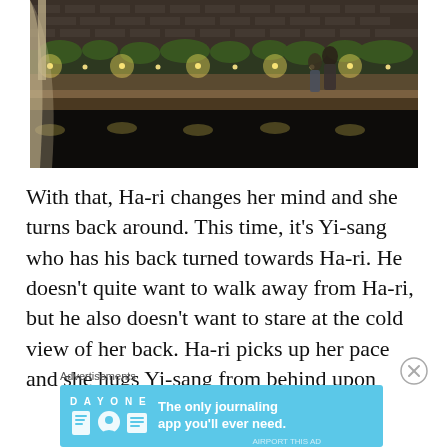[Figure (photo): A dark atmospheric scene showing two people near illuminated stone steps at night. String lights and greenery are visible along a stone ledge. The setting appears to be a romantic outdoor venue with reflective dark floor.]
With that, Ha-ri changes her mind and she turns back around. This time, it's Yi-sang who has his back turned towards Ha-ri. He doesn't quite want to walk away from Ha-ri, but he also doesn't want to stare at the cold view of her back. Ha-ri picks up her pace and she hugs Yi-sang from behind upon
Advertisements
[Figure (screenshot): Advertisement banner for Day One journaling app with light blue background, app icons, and text 'The only journaling app you'll ever need.']